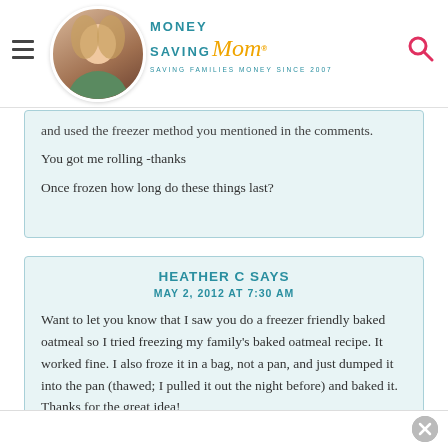Money Saving Mom® — SAVING FAMILIES MONEY SINCE 2007
and used the freezer method you mentioned in the comments.
You got me rolling -thanks
Once frozen how long do these things last?
HEATHER C SAYS
MAY 2, 2012 AT 7:30 AM
Want to let you know that I saw you do a freezer friendly baked oatmeal so I tried freezing my family's baked oatmeal recipe. It worked fine. I also froze it in a bag, not a pan, and just dumped it into the pan (thawed; I pulled it out the night before) and baked it. Thanks for the great idea!